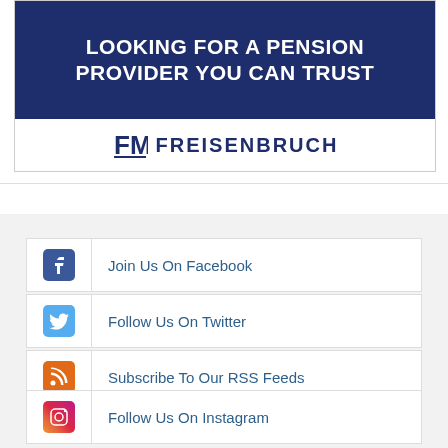[Figure (logo): Freisenbruch pension provider advertisement banner with dark navy background and company logo]
Join Us On Facebook
Follow Us On Twitter
Subscribe To Our RSS Feeds
Follow Us On Instagram